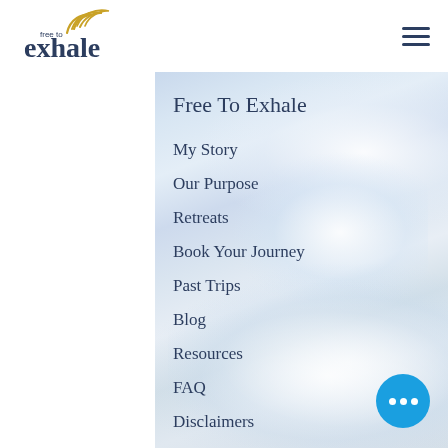[Figure (logo): Free to Exhale logo with stylized golden wing/smoke curl above text in navy blue]
[Figure (illustration): Hamburger menu icon (three horizontal lines) in dark navy]
Free To Exhale
My Story
Our Purpose
Retreats
Book Your Journey
Past Trips
Blog
Resources
FAQ
Disclaimers
[Figure (photo): Sky background with soft white clouds, light blue sky]
[Figure (other): Blue circular chat button with three white dots]